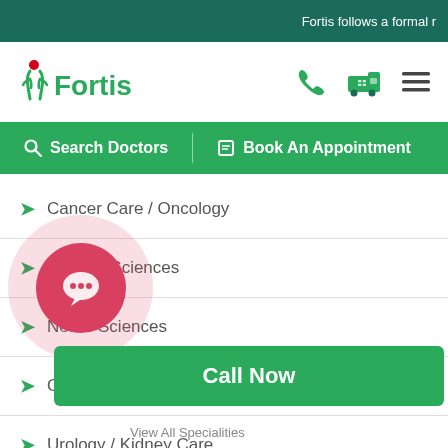Fortis follows a formal r
[Figure (logo): Fortis Healthcare logo with stylized human figures and red dot]
[Figure (illustration): Phone icon, ambulance icon, and hamburger menu icon in green]
Search Doctors | Book An Appointment
Cancer Care / Oncology
Cardiac Sciences
Neuro Sciences
Orthopaedics
Urology / Kidney Care
Hepatology & Liver Transplant
[Figure (illustration): Pink circular chat bubble widget overlay in bottom left]
Call Now